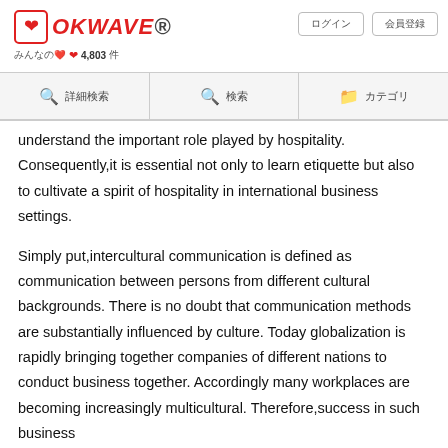OKWAVE® ♥ 4,803
understand the important role played by hospitality. Consequently,it is essential not only to learn etiquette but also to cultivate a spirit of hospitality in international business settings.
Simply put,intercultural communication is defined as communication between persons from different cultural backgrounds. There is no doubt that communication methods are substantially influenced by culture. Today globalization is rapidly bringing together companies of different nations to conduct business together. Accordingly many workplaces are becoming increasingly multicultural. Therefore,success in such business